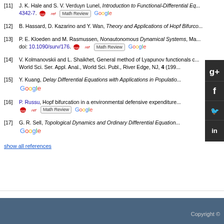[11] J. K. Hale and S. V. Verduyn Lunel, Introduction to Functional-Differential Equations, ... 4342-7. CrossRef Math Review Google
[12] B. Hassard, D. Kazarino and Y. Wan, Theory and Applications of Hopf Bifurcation...
[13] P. E. Kloeden and M. Rasmussen, Nonautonomous Dynamical Systems, Ma... doi: 10.1090/surv/176. CrossRef Math Review Google
[14] V. Kolmanovskii and L. Shaikhet, General method of Lyapunov functionals construction... World Sci. Ser. Appl. Anal., World Sci. Publ., River Edge, NJ, 4 (199...)
[15] Y. Kuang, Delay Differential Equations with Applications in Population... Google
[16] P. Russu, Hopf bifurcation in a environmental defensive expenditure... CrossRef Math Review Google
[17] G. R. Sell, Topological Dynamics and Ordinary Differential Equations... Google
show all references